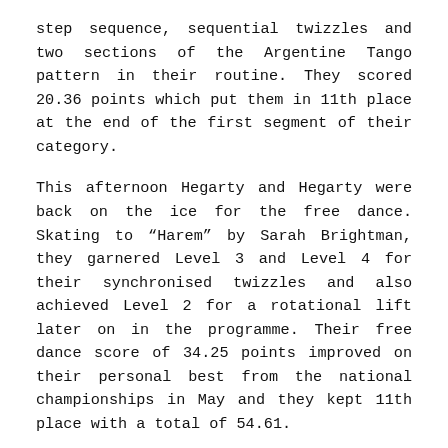step sequence, sequential twizzles and two sections of the Argentine Tango pattern in their routine. They scored 20.36 points which put them in 11th place at the end of the first segment of their category.
This afternoon Hegarty and Hegarty were back on the ice for the free dance. Skating to “Harem” by Sarah Brightman, they garnered Level 3 and Level 4 for their synchronised twizzles and also achieved Level 2 for a rotational lift later on in the programme. Their free dance score of 34.25 points improved on their personal best from the national championships in May and they kept 11th place with a total of 54.61.
“Although it was difficult to skate in such a high level competition, we performed to the best of our abilities,” Laura Hegarty said.
“Our main problem was endurance and stamina,” Kevin